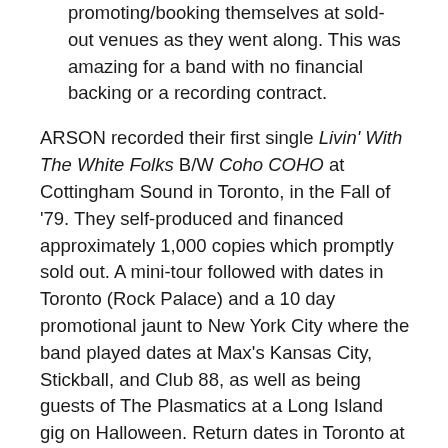promoting/booking themselves at sold-out venues as they went along. This was amazing for a band with no financial backing or a recording contract.
ARSON recorded their first single Livin' With The White Folks B/W Coho COHO at Cottingham Sound in Toronto, in the Fall of '79. They self-produced and financed approximately 1,000 copies which promptly sold out. A mini-tour followed with dates in Toronto (Rock Palace) and a 10 day promotional jaunt to New York City where the band played dates at Max's Kansas City, Stickball, and Club 88, as well as being guests of The Plasmatics at a Long Island gig on Halloween. Return dates in Toronto at 'The Horseshoe', 'Hotel Isabella' and 'Larry's Hideaway' to promote the single's release followed before the band decided to take a well-deserved break.
In 1980, ARSON continued to make the rounds at various